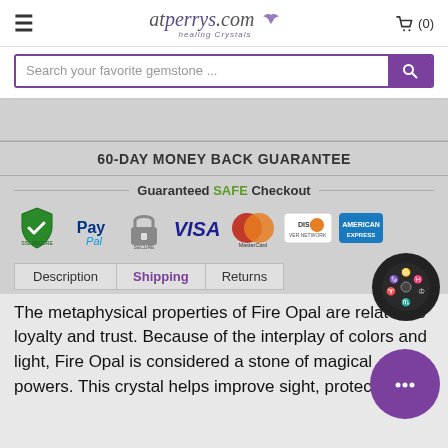atperrys.com Healing Crystals — cart (0)
Search your favorite gemstone ...
60-DAY MONEY BACK GUARANTEE
Guaranteed SAFE Checkout
[Figure (logo): Payment method logos: SSL secure (green shield), PayPal, padlock/secure, VISA, MasterCard, Discover Network, American Express]
Description   Shipping   Returns
The metaphysical properties of Fire Opal are related to loyalty and trust. Because of the interplay of colors and light, Fire Opal is considered a stone of magical powers. This crystal helps improve sight, protects from